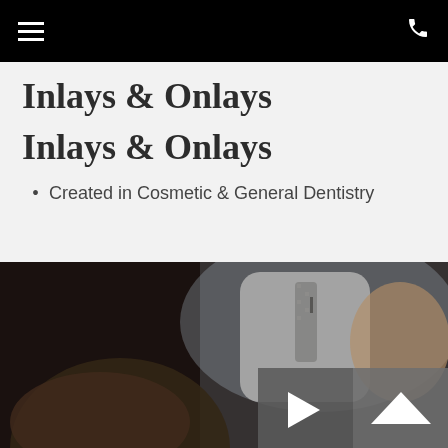navigation bar with hamburger menu and phone icon
Inlays & Onlays
Inlays & Onlays
Created in Cosmetic & General Dentistry
[Figure (photo): A blurred photo showing a dentist in a white coat with a checkered tie speaking with a patient, with a video play button overlay in the bottom right corner.]